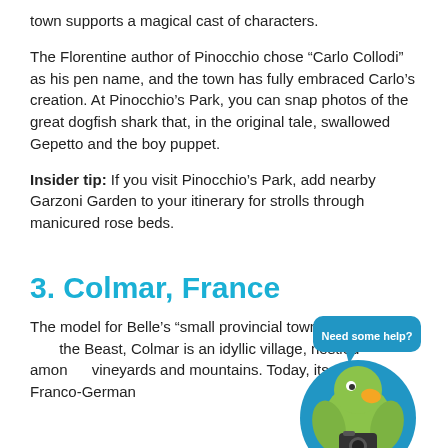town supports a magical cast of characters.
The Florentine author of Pinocchio chose “Carlo Collodi” as his pen name, and the town has fully embraced Carlo’s creation. At Pinocchio’s Park, you can snap photos of the great dogfish shark that, in the original tale, swallowed Gepetto and the boy puppet.
Insider tip: If you visit Pinocchio’s Park, add nearby Garzoni Garden to your itinerary for strolls through manicured rose beds.
3. Colmar, France
[Figure (illustration): A cartoon green parrot mascot wearing a camera, inside a blue circle, with a speech bubble saying 'Need some help?']
The model for Belle’s “small provincial town” in Beauty and the Beast, Colmar is an idyllic village, nestled amongst vineyards and mountains. Today, its unique Franco-German